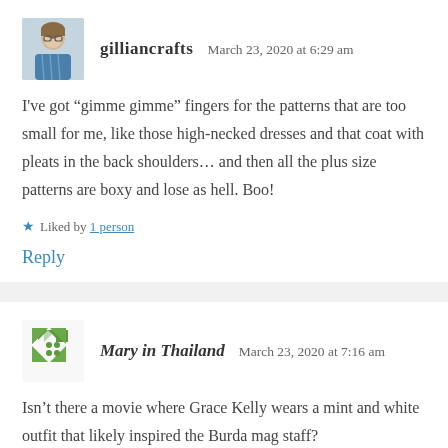[Figure (photo): Avatar photo of gilliancrafts, a woman with glasses and a blue patterned top]
gilliancrafts   March 23, 2020 at 6:29 am
I've got “gimme gimme” fingers for the patterns that are too small for me, like those high-necked dresses and that coat with pleats in the back shoulders... and then all the plus size patterns are boxy and lose as hell. Boo!
★ Liked by 1 person
Reply
[Figure (logo): Avatar icon for Mary in Thailand, a green geometric leaf/arrow pattern]
Mary in Thailand   March 23, 2020 at 7:16 am
Isn’t there a movie where Grace Kelly wears a mint and white outfit that likely inspired the Burda mag staff?